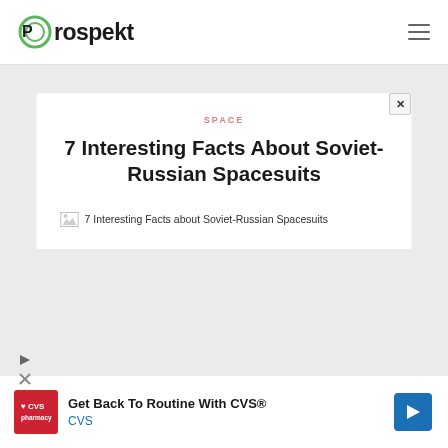Prospekt
SPACE
7 Interesting Facts About Soviet-Russian Spacesuits
[Figure (photo): Broken image placeholder for '7 Interesting Facts about Soviet-Russian Spacesuits']
Get Back To Routine With CVS® CVS